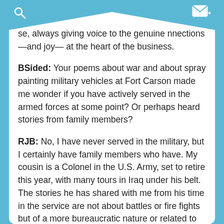se, always giving voice to the genuine nnections—and joy— at the heart of the business.
BSided: Your poems about war and about spray painting military vehicles at Fort Carson made me wonder if you have actively served in the armed forces at some point? Or perhaps heard stories from family members?
RJB: No, I have never served in the military, but I certainly have family members who have. My cousin is a Colonel in the U.S. Army, set to retire this year, with many tours in Iraq under his belt. The stories he has shared with me from his time in the service are not about battles or fire fights but of a more bureaucratic nature or related to the